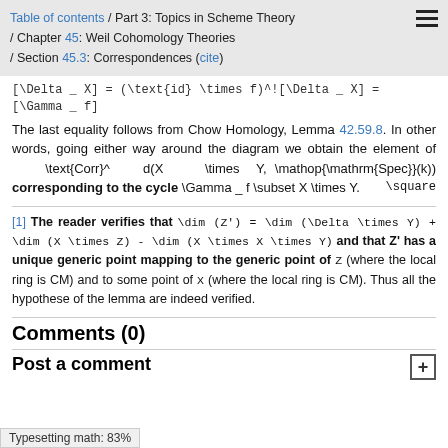Table of contents / Part 3: Topics in Scheme Theory / Chapter 45: Weil Cohomology Theories / Section 45.3: Correspondences (cite)
The last equality follows from Chow Homology, Lemma 42.59.8. In other words, going either way around the diagram we obtain the element of \text{Corr}^d(X \times Y, \mathop{\mathrm{Spec}}(k)) corresponding to the cycle \Gamma_f \subset X \times Y. \square
[1] The reader verifies that \dim (Z') = \dim (\Delta \times Y) + \dim (X \times Z) - \dim (X \times X \times Y) and that Z' has a unique generic point mapping to the generic point of Z (where the local ring is CM) and to some point of X (where the local ring is CM). Thus all the hypothese of the lemma are indeed verified.
Comments (0)
Post a comment